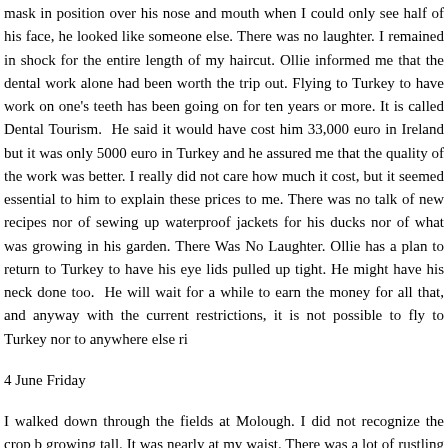mask in position over his nose and mouth when I could only see half of his face, he looked like someone else. There was no laughter. I remained in shock for the entire length of my haircut. Ollie informed me that the dental work alone had been worth the trip out. Flying to Turkey to have work on one's teeth has been going on for ten years or more. It is called Dental Tourism.  He said it would have cost him 33,000 euro in Ireland but it was only 5000 euro in Turkey and he assured me that the quality of the work was better. I really did not care how much it cost, but it seemed essential to him to explain these prices to me. There was no talk of new recipes nor of sewing up waterproof jackets for his ducks nor of what was growing in his garden. There Was No Laughter. Ollie has a plan to return to Turkey to have his eye lids pulled up tight. He might have his neck done too.  He will wait for a while to earn the money for all that, and anyway with the current restrictions, it is not possible to fly to Turkey nor to anywhere else right now.
4 June Friday
I walked down through the fields at Molough. I did not recognize the crop but it was growing tall. It was nearly at my waist. There was a lot of rustling and crackling as the wind blew though the plants. It was noisy in a quiet way. Suddenly a young deer rushed across the track from one field right into the next. At the point of crossing she was just a few feet in front of me. I do not know if she knew I was near. Before I could get over my surprise, three more fawns came rushing out of the tall growth and all four dis